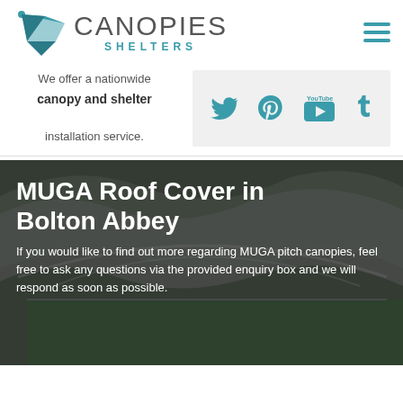[Figure (logo): Canopies Shelters logo with teal geometric bird/arrow icon and company name]
We offer a nationwide canopy and shelter installation service.
[Figure (infographic): Social media icons: Twitter, Pinterest, YouTube, Tumblr in teal on light grey background]
MUGA Roof Cover in Bolton Abbey
If you would like to find out more regarding MUGA pitch canopies, feel free to ask any questions via the provided enquiry box and we will respond as soon as possible.